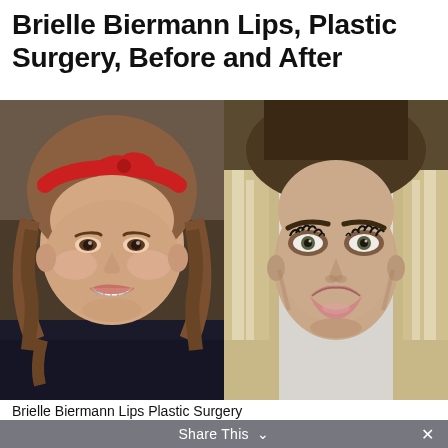Brielle Biermann Lips, Plastic Surgery, Before and After
[Figure (photo): Side-by-side before and after photos of Brielle Biermann. Left photo shows her as a younger girl smiling with braces, wearing a red bandana headband, with wavy brown hair. Right photo shows her as an adult with long blonde highlighted hair, heavy makeup, prominent lips, and defined features.]
Brielle Biermann Lips Plastic Surgery
Share This
×